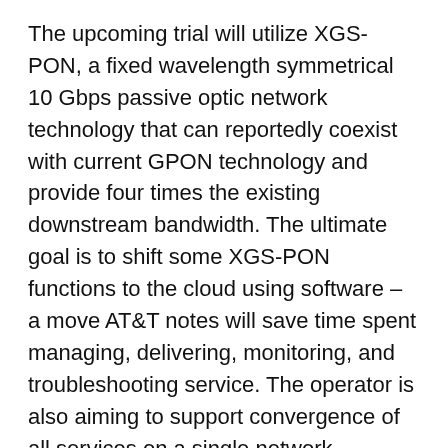The upcoming trial will utilize XGS-PON, a fixed wavelength symmetrical 10 Gbps passive optic network technology that can reportedly coexist with current GPON technology and provide four times the existing downstream bandwidth. The ultimate goal is to shift some XGS-PON functions to the cloud using software – a move AT&T notes will save time spent managing, delivering, monitoring, and troubleshooting service. The operator is also aiming to support convergence of all services on a single network, including 5G wireless infrastructure.
“Software-defined networks and XGS-PON are a natural step along the evolutionary path of PON technology,” comments Eddy Barker, AT&T’s assistant vice president of Access Architecture and Design. “This is another way we’re enhancing our